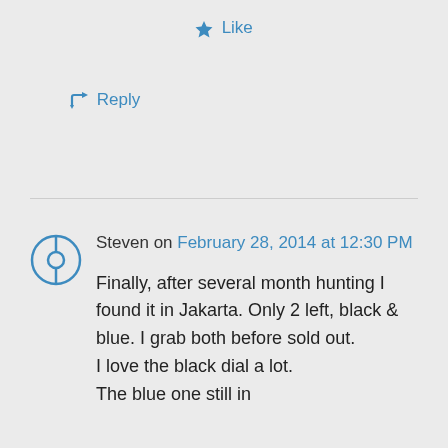★ Like
↳ Reply
Steven on February 28, 2014 at 12:30 PM
Finally, after several month hunting I found it in Jakarta. Only 2 left, black & blue. I grab both before sold out.
I love the black dial a lot.
The blue one still in